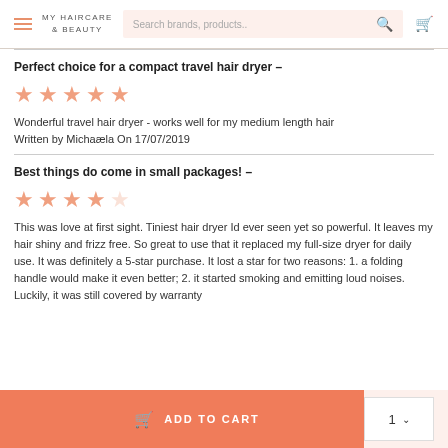MY HAIRCARE & BEAUTY | Search brands, products..
Perfect choice for a compact travel hair dryer –
[Figure (other): 5 out of 5 stars rating]
Wonderful travel hair dryer - works well for my medium length hair
Written by Michaela On 17/07/2019
Best things do come in small packages! –
[Figure (other): 4 out of 5 stars rating]
This was love at first sight. Tiniest hair dryer Id ever seen yet so powerful. It leaves my hair shiny and frizz free. So great to use that it replaced my full-size dryer for daily use. It was definitely a 5-star purchase. It lost a star for two reasons: 1. a folding handle would make it even better; 2. it started smoking and emitting loud noises. Luckily, it was still covered by warranty